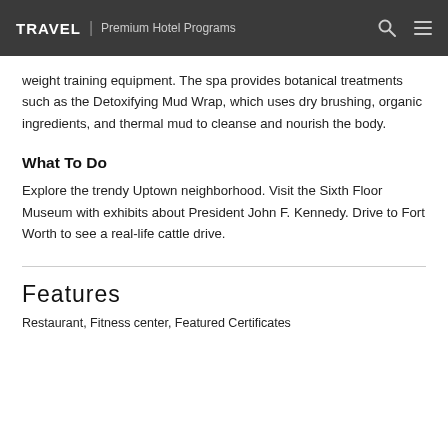TRAVEL | Premium Hotel Programs
weight training equipment. The spa provides botanical treatments such as the Detoxifying Mud Wrap, which uses dry brushing, organic ingredients, and thermal mud to cleanse and nourish the body.
What To Do
Explore the trendy Uptown neighborhood. Visit the Sixth Floor Museum with exhibits about President John F. Kennedy. Drive to Fort Worth to see a real-life cattle drive.
Features
Restaurant, Fitness center, Featured Certificates